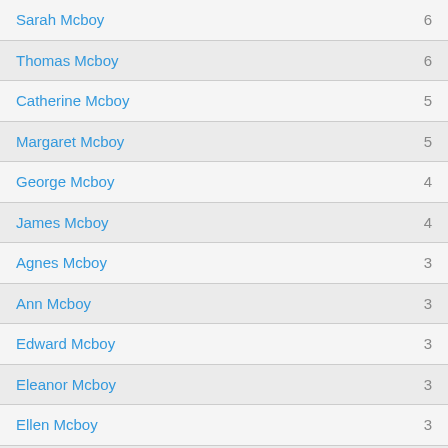| Name | Count |
| --- | --- |
| Sarah Mcboy | 6 |
| Thomas Mcboy | 6 |
| Catherine Mcboy | 5 |
| Margaret Mcboy | 5 |
| George Mcboy | 4 |
| James Mcboy | 4 |
| Agnes Mcboy | 3 |
| Ann Mcboy | 3 |
| Edward Mcboy | 3 |
| Eleanor Mcboy | 3 |
| Ellen Mcboy | 3 |
| Henry Mcboy | 3 |
| Jane Mcboy | 3 |